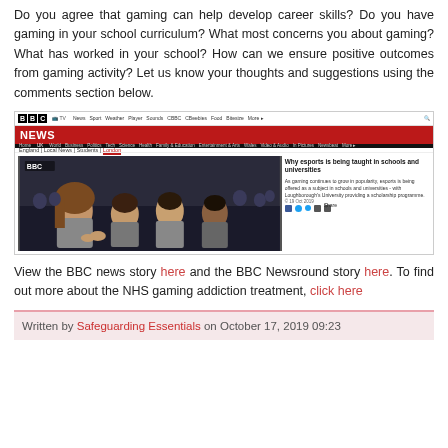Do you agree that gaming can help develop career skills? Do you have gaming in your school curriculum? What most concerns you about gaming? What has worked in your school? How can we ensure positive outcomes from gaming activity? Let us know your thoughts and suggestions using the comments section below.
[Figure (screenshot): Screenshot of BBC News webpage showing article 'Why esports is being taught in schools and universities' with a photo of students at a gaming event.]
View the BBC news story here and the BBC Newsround story here. To find out more about the NHS gaming addiction treatment, click here
Written by Safeguarding Essentials on October 17, 2019 09:23